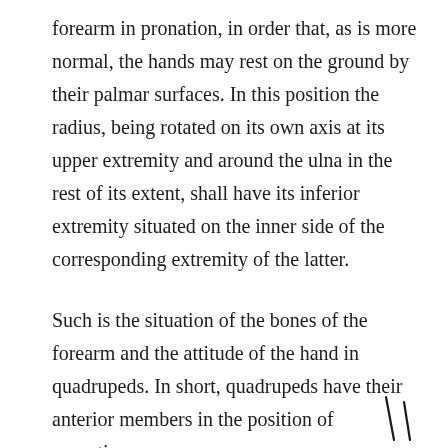forearm in pronation, in order that, as is more normal, the hands may rest on the ground by their palmar surfaces. In this position the radius, being rotated on its own axis at its upper extremity and around the ulna in the rest of its extent, shall have its inferior extremity situated on the inner side of the corresponding extremity of the latter.
Such is the situation of the bones of the forearm and the attitude of the hand in quadrupeds. In short, quadrupeds have their anterior members in the position of pronation.
[Figure (illustration): Handwritten signature or mark consisting of two diagonal strokes in the bottom right corner of the page.]